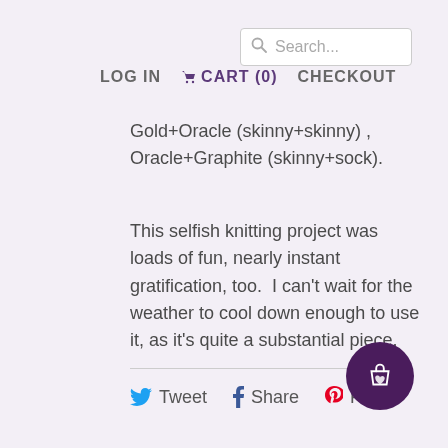[Figure (screenshot): Search bar with magnifying glass icon and placeholder text 'Search...']
LOG IN  CART (0)  CHECKOUT
Gold+Oracle (skinny+skinny) , Oracle+Graphite (skinny+sock).
This selfish knitting project was loads of fun, nearly instant gratification, too. I can't wait for the weather to cool down enough to use it, as it's quite a substantial piece.
[Figure (infographic): Social sharing bar with Tweet, Share, and Pin It buttons]
[Figure (illustration): Dark purple circular floating action button with shopping bag and heart icon]